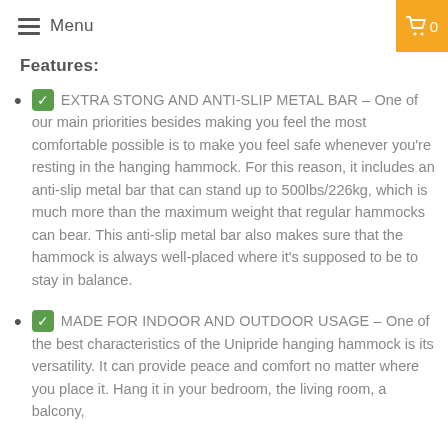Menu | Search | Cart 0
Features:
✅ EXTRA STONG AND ANTI-SLIP METAL BAR – One of our main priorities besides making you feel the most comfortable possible is to make you feel safe whenever you're resting in the hanging hammock. For this reason, it includes an anti-slip metal bar that can stand up to 500lbs/226kg, which is much more than the maximum weight that regular hammocks can bear. This anti-slip metal bar also makes sure that the hammock is always well-placed where it's supposed to be to stay in balance.
✅ MADE FOR INDOOR AND OUTDOOR USAGE – One of the best characteristics of the Unipride hanging hammock is its versatility. It can provide peace and comfort no matter where you place it. Hang it in your bedroom, the living room, a balcony,